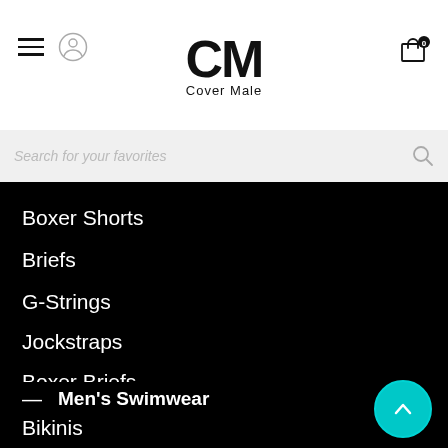[Figure (logo): Cover Male CM logo with hamburger menu, user icon, and cart icon with badge 0]
Search for your favorites
Boxer Shorts
Briefs
G-Strings
Jockstraps
Boxer Briefs
— Men's Swimwear
Bikinis